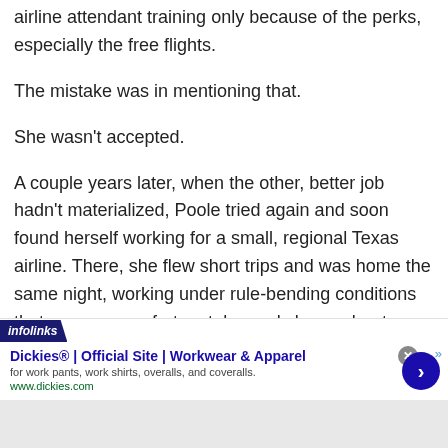airline attendant training only because of the perks, especially the free flights.
The mistake was in mentioning that.
She wasn't accepted.
A couple years later, when the other, better job hadn't materialized, Poole tried again and soon found herself working for a small, regional Texas airline. There, she flew short trips and was home the same night, working under rule-bending conditions that passengers, fortunately, rarely knew about.
[Figure (other): Infolinks advertisement banner for Dickies Official Site - Workwear and Apparel. Ad shows title 'Dickies® | Official Site | Workwear & Apparel', description 'for work pants, work shirts, overalls, and coveralls.', URL 'www.dickies.com', with a blue arrow button and close button.]